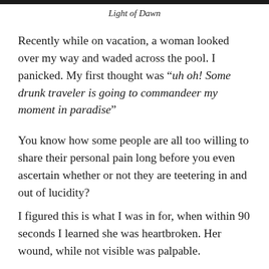Light of Dawn
Recently while on vacation, a woman looked over my way and waded across the pool. I panicked. My first thought was “uh oh! Some drunk traveler is going to commandeer my moment in paradise”
You know how some people are all too willing to share their personal pain long before you even ascertain whether or not they are teetering in and out of lucidity?
I figured this is what I was in for, when within 90 seconds I learned she was heartbroken. Her wound, while not visible was palpable.